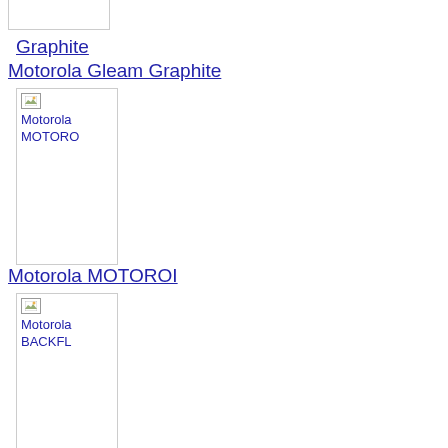Graphite
Motorola Gleam Graphite
[Figure (photo): Broken image placeholder for Motorola MOTOROI]
Motorola MOTOROI
[Figure (photo): Broken image placeholder for Motorola BACKFLIP]
Motorola BACKFLIP
[Figure (photo): Broken image placeholder for Motorola Droid X]
Motorola Droid X
[Figure (photo): Broken image placeholder for Motorola Bravo]
Motorola Bravo
[Figure (photo): Broken image placeholder for next item]